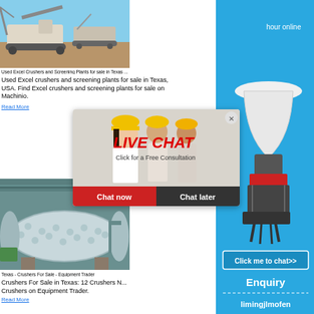[Figure (photo): Outdoor photo of Excel crusher and screening plant machinery on a construction site with a blue sky background]
Used Excel Crushers and Screening Plants for sale in Texas ...
Used Excel crushers and screening plants for sale in Texas, USA. Find Excel crushers and screening plants for sale on Machinio.
Read More
[Figure (photo): Indoor industrial photo of a large cylindrical ball mill machine in a factory setting]
Texas - Crushers For Sale - Equipment Trader
Crushers For Sale in Texas: 12 Crushers N... Crushers on Equipment Trader.
Read More
[Figure (screenshot): Live Chat popup overlay with workers in hard hats, LIVE CHAT heading in red italic text, subtitle 'Click for a Free Consultation', Chat now red button, Chat later dark button, and an X close button]
[Figure (screenshot): Right sidebar advertisement with blue background showing a cone crusher machine, 'hour online', 'Click me to chat>>' button, 'Enquiry' section, and 'limingjlmofen' branding]